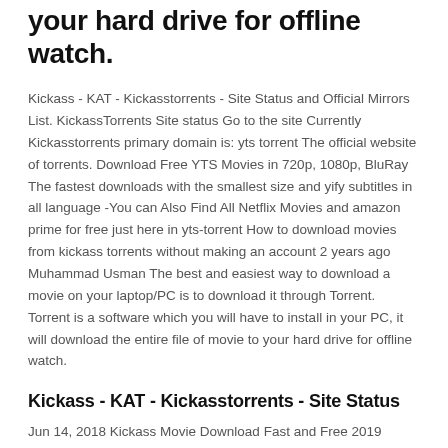your hard drive for offline watch.
Kickass - KAT - Kickasstorrents - Site Status and Official Mirrors List. KickassTorrents Site status Go to the site Currently Kickasstorrents primary domain is: yts torrent The official website of torrents. Download Free YTS Movies in 720p, 1080p, BluRay The fastest downloads with the smallest size and yify subtitles in all language -You can Also Find All Netflix Movies and amazon prime for free just here in yts-torrent How to download movies from kickass torrents without making an account 2 years ago Muhammad Usman The best and easiest way to download a movie on your laptop/PC is to download it through Torrent. Torrent is a software which you will have to install in your PC, it will download the entire file of movie to your hard drive for offline watch.
Kickass - KAT - Kickasstorrents - Site Status
Jun 14, 2018 Kickass Movie Download Fast and Free 2019